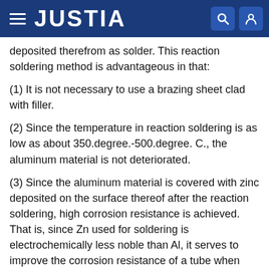JUSTIA
deposited therefrom as solder. This reaction soldering method is advantageous in that:
(1) It is not necessary to use a brazing sheet clad with filler.
(2) Since the temperature in reaction soldering is as low as about 350.degree.-500.degree. C., the aluminum material is not deteriorated.
(3) Since the aluminum material is covered with zinc deposited on the surface thereof after the reaction soldering, high corrosion resistance is achieved. That is, since Zn used for soldering is electrochemically less noble than Al, it serves to improve the corrosion resistance of a tube when used in practical applications.
Because of the above advantages, the reaction soldering